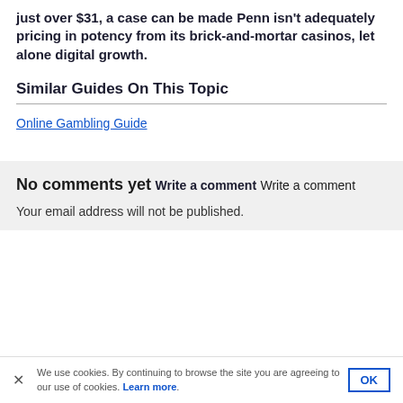just over $31, a case can be made Penn isn’t adequately pricing in potency from its brick-and-mortar casinos, let alone digital growth.
Similar Guides On This Topic
Online Gambling Guide
No comments yet
Write a comment
Write a comment
Your email address will not be published.
We use cookies. By continuing to browse the site you are agreeing to our use of cookies. Learn more.